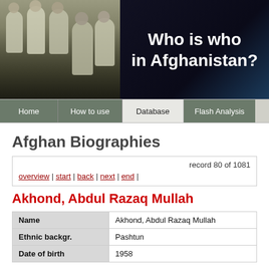[Figure (photo): Banner with group photo of Afghan men in traditional dress on left, and 'Who is who in Afghanistan?' title text on black/dark blue background on right]
Home | How to use | Database | Flash Analysis
Afghan Biographies
record 80 of 1081
overview | start | back | next | end |
Akhond, Abdul Razaq Mullah
| Field | Value |
| --- | --- |
| Name | Akhond, Abdul Razaq Mullah |
| Ethnic backgr. | Pashtun |
| Date of birth | 1958 |